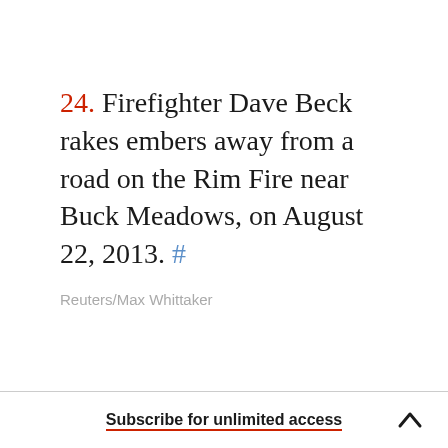24. Firefighter Dave Beck rakes embers away from a road on the Rim Fire near Buck Meadows, on August 22, 2013. #
Reuters/Max Whittaker
Subscribe for unlimited access